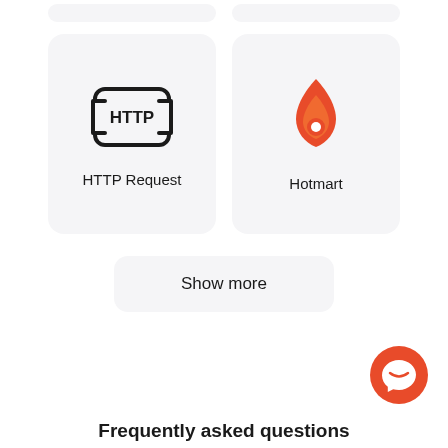[Figure (screenshot): Two partially visible grey rounded card widgets at top of page (cropped)]
[Figure (screenshot): HTTP Request card with HTTP icon in rounded rectangle bracket design and label 'HTTP Request']
[Figure (screenshot): Hotmart card with orange flame/fire icon and label 'Hotmart']
Show more
[Figure (logo): Orange circular chat/messenger button with white speech bubble icon, positioned bottom-right]
Frequently asked questions